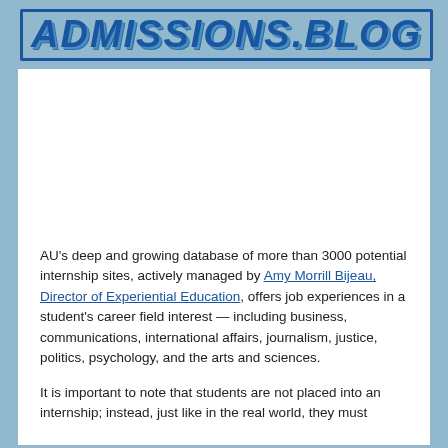ADMISSIONS.BLOG
[Figure (photo): Empty white space / image area at top of content region]
AU's deep and growing database of more than 3000 potential internship sites, actively managed by Amy Morrill Bijeau, Director of Experiential Education, offers job experiences in a student's career field interest — including business, communications, international affairs, journalism, justice, politics, psychology, and the arts and sciences.
It is important to note that students are not placed into an internship; instead, just like in the real world, they must